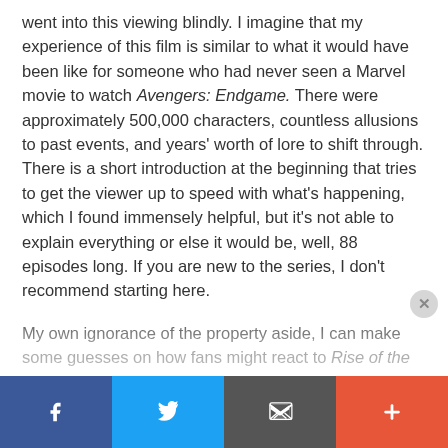went into this viewing blindly. I imagine that my experience of this film is similar to what it would have been like for someone who had never seen a Marvel movie to watch Avengers: Endgame. There were approximately 500,000 characters, countless allusions to past events, and years' worth of lore to shift through. There is a short introduction at the beginning that tries to get the viewer up to speed with what's happening, which I found immensely helpful, but it's not able to explain everything or else it would be, well, 88 episodes long. If you are new to the series, I don't recommend starting here.
My own ignorance of the property aside, I can make some guesses on how fans might react to Rise of the Titans. The plot is expansive, and the stakes are high, which culminates in a lot of satisfying moments for various characters and story lines. I think that fans will be excited for the colossal scale of many as well as the characters...
Facebook | Twitter | Email | More